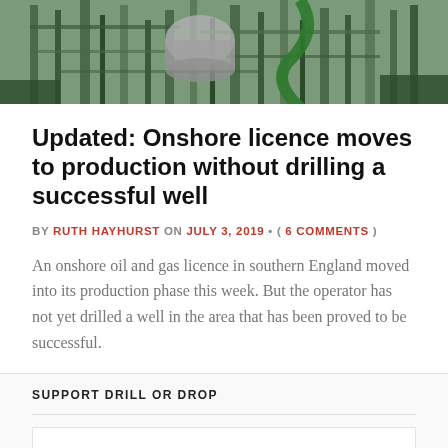[Figure (photo): Photograph of industrial oil and gas drilling equipment and scaffolding structures outdoors]
Updated: Onshore licence moves to production without drilling a successful well
BY RUTH HAYHURST ON JULY 3, 2019 • ( 6 COMMENTS )
An onshore oil and gas licence in southern England moved into its production phase this week. But the operator has not yet drilled a well in the area that has been proved to be successful.
SUPPORT DRILL OR DROP
Any donation, however small, will help DrillOrDrop to report independently on fracking, onshore oil and gas and the reactions to it.